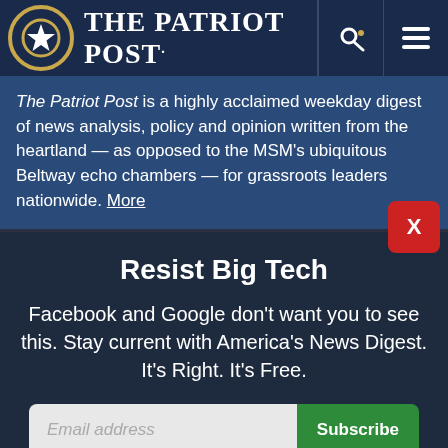The Patriot Post.
The Patriot Post is a highly acclaimed weekday digest of news analysis, policy and opinion written from the heartland — as opposed to the MSM's ubiquitous Beltway echo chambers — for grassroots leaders nationwide. More
Resist Big Tech
Facebook and Google don't want you to see this. Stay current with America's News Digest. It's Right. It's Free.
Email address | Subscribe
I'm Already Subscribed